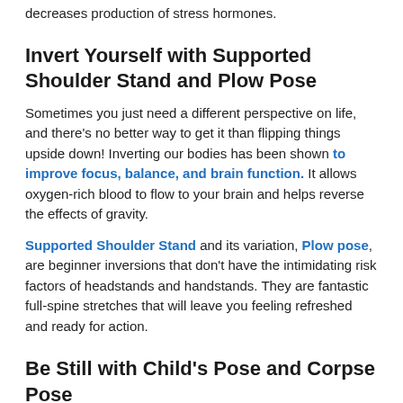decreases production of stress hormones.
Invert Yourself with Supported Shoulder Stand and Plow Pose
Sometimes you just need a different perspective on life, and there's no better way to get it than flipping things upside down! Inverting our bodies has been shown to improve focus, balance, and brain function. It allows oxygen-rich blood to flow to your brain and helps reverse the effects of gravity.
Supported Shoulder Stand and its variation, Plow pose, are beginner inversions that don't have the intimidating risk factors of headstands and handstands. They are fantastic full-spine stretches that will leave you feeling refreshed and ready for action.
Be Still with Child's Pose and Corpse Pose
No stretching routine is complete without a few final minutes to come back to centre. Yoga poses are inherently reflective, but Child's pose and Corpse pose are the culmination of that.